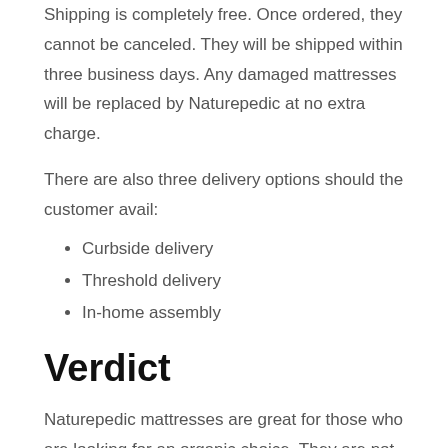Shipping is completely free. Once ordered, they cannot be canceled. They will be shipped within three business days. Any damaged mattresses will be replaced by Naturepedic at no extra charge.
There are also three delivery options should the customer avail:
Curbside delivery
Threshold delivery
In-home assembly
Verdict
Naturepedic mattresses are great for those who are looking for an organic choice. They are not cheap, but their chemical-free and customizable options make them worth it.
Naturepedic works for everyone. Whether you are an adult or a child, they are a good choice for having a non-toxic and